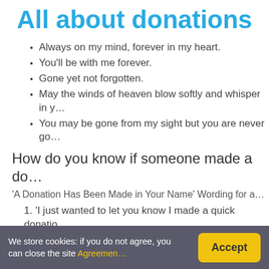All about donations
Always on my mind, forever in my heart.
You'll be with me forever.
Gone yet not forgotten.
May the winds of heaven blow softly and whisper in y…
You may be gone from my sight but you are never go…
How do you know if someone made a do…
'A Donation Has Been Made in Your Name' Wording for a…
1. 'I just wanted to let you know I made a quick donatio…
2. 'Thank you for always being there.
3. 'I know how much this cause means to you, so I've m…
How do you start a fund in memory of so…
How to set up a memorial fund…
We store cookies: if you do not agree, you can close the site Agreement